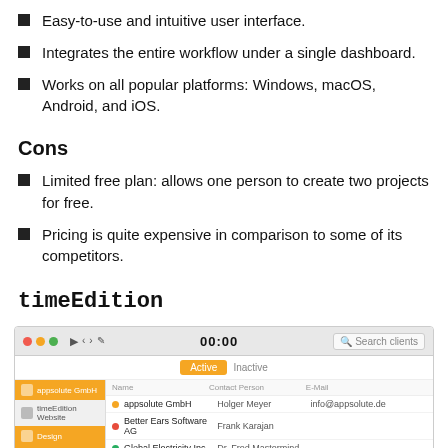Easy-to-use and intuitive user interface.
Integrates the entire workflow under a single dashboard.
Works on all popular platforms: Windows, macOS, Android, and iOS.
Cons
Limited free plan: allows one person to create two projects for free.
Pricing is quite expensive in comparison to some of its competitors.
timeEdition
[Figure (screenshot): Screenshot of the timeEdition application showing a macOS-style window with a title bar (traffic light buttons, back/forward, edit icons, 00:00 timer, search field), Active/Inactive tabs, an orange sidebar with items (appsolute GmbH, timeEdition Website, Design, Items, MANAGE), and a client list table with columns Name, Contact Person, E-Mail showing rows: appsolute GmbH / Holger Meyer / info@appsolute.de, Better Ears Software AG / Frank Karajan, Global Electricity Inc / Dr. Fred Mastermind, Health Bakery / Peter Miler / p.miler@healthbakery.com, Hermes / Oliver Schmidt.]